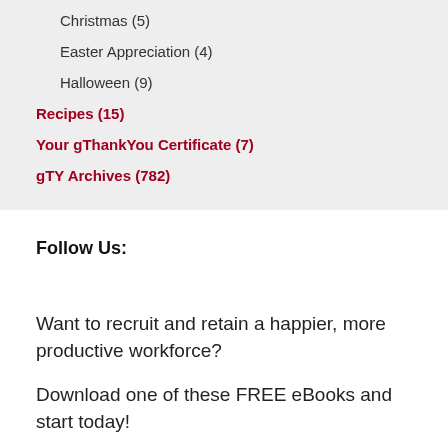Christmas (5)
Easter Appreciation (4)
Halloween (9)
Recipes (15)
Your gThankYou Certificate (7)
gTY Archives (782)
Follow Us:
Want to recruit and retain a happier, more productive workforce?
Download one of these FREE eBooks and start today!